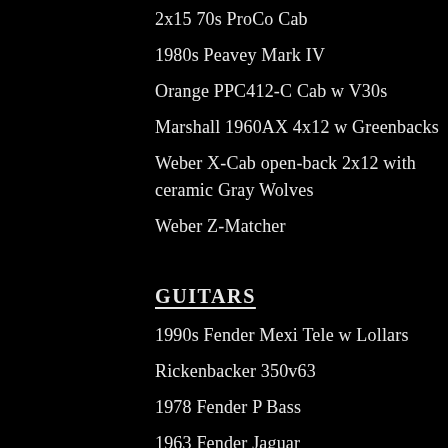2x15 70s ProCo Cab
1980s Peavey Mark IV
Orange PPC412-C Cab w V30s
Marshall 1960AX 4x12 w Greenbacks
Weber X-Cab open-back 2x12 with ceramic Gray Wolves
Weber Z-Matcher
GUITARS
1990s Fender Mexi Tele w Lollars
Rickenbacker 350v63
1978 Fender P Bass
1963 Fender Jaguar
Fender Mexi Jazz Bass
Fender Custom Shop Strat
Fender Nocaster Reissue Tele